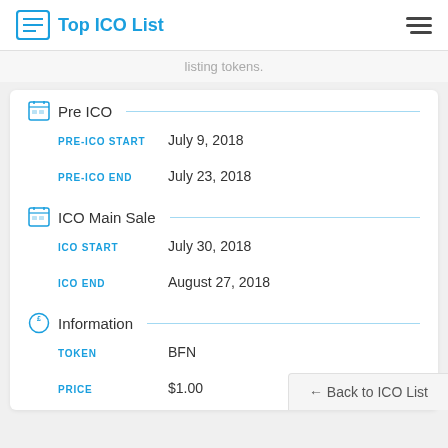Top ICO List
listing tokens.
Pre ICO
PRE-ICO START: July 9, 2018
PRE-ICO END: July 23, 2018
ICO Main Sale
ICO START: July 30, 2018
ICO END: August 27, 2018
Information
TOKEN: BFN
PRICE: $1.00
← Back to ICO List